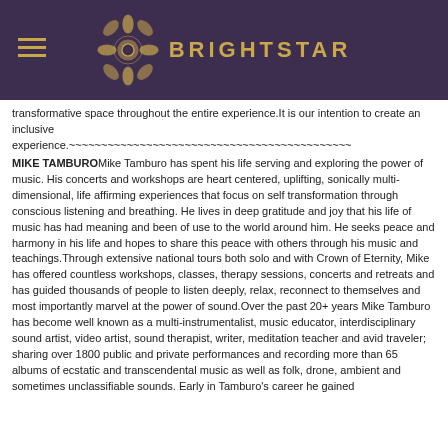BRIGHTSTAR
transformative space throughout the entire experience.It is our intention to create an inclusive experience.~~~~~~~~~~~~~~~~~~~~~~~~~~~~~~~~~~~~~~~~~~~~
MIKE TAMBUROMike Tamburo has spent his life serving and exploring the power of music. His concerts and workshops are heart centered, uplifting, sonically multi-dimensional, life affirming experiences that focus on self transformation through conscious listening and breathing. He lives in deep gratitude and joy that his life of music has had meaning and been of use to the world around him. He seeks peace and harmony in his life and hopes to share this peace with others through his music and teachings.Through extensive national tours both solo and with Crown of Eternity, Mike has offered countless workshops, classes, therapy sessions, concerts and retreats and has guided thousands of people to listen deeply, relax, reconnect to themselves and most importantly marvel at the power of sound.Over the past 20+ years Mike Tamburo has become well known as a multi-instrumentalist, music educator, interdisciplinary sound artist, video artist, sound therapist, writer, meditation teacher and avid traveler; sharing over 1800 public and private performances and recording more than 65 albums of ecstatic and transcendental music as well as folk, drone, ambient and sometimes unclassifiable sounds. Early in Tamburo's career he gained